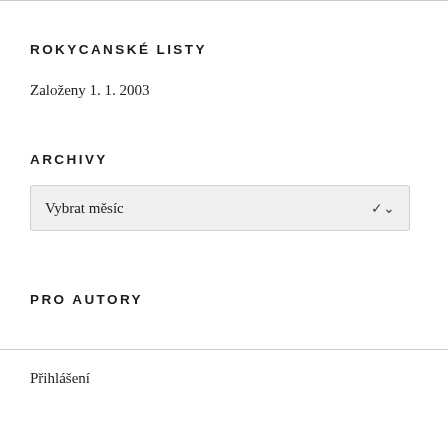ROKYCANSKÉ LISTY
Založeny 1. 1. 2003
ARCHIVY
Vybrat měsíc
PRO AUTORY
Přihlášení